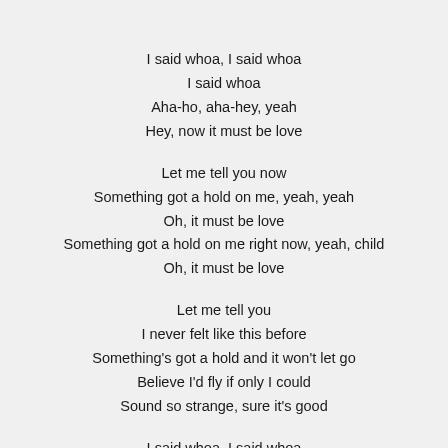I said whoa, I said whoa
I said whoa
Aha-ho, aha-hey, yeah
Hey, now it must be love
Let me tell you now
Something got a hold on me, yeah, yeah
Oh, it must be love
Something got a hold on me right now, yeah, child
Oh, it must be love
Let me tell you
I never felt like this before
Something's got a hold and it won't let go
Believe I'd fly if only I could
Sound so strange, sure it's good
I said whoa, I said whoa